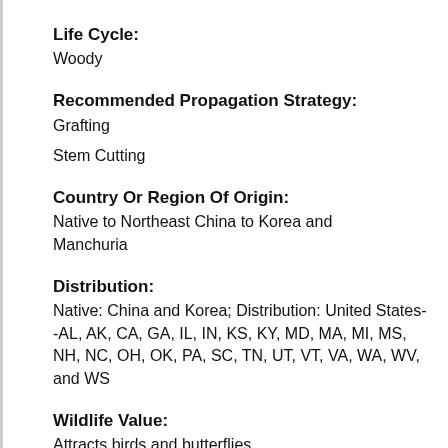Life Cycle:
Woody
Recommended Propagation Strategy:
Grafting
Stem Cutting
Country Or Region Of Origin:
Native to Northeast China to Korea and Manchuria
Distribution:
Native: China and Korea; Distribution: United States--AL, AK, CA, GA, IL, IN, KS, KY, MD, MA, MI, MS, NH, NC, OH, OK, PA, SC, TN, UT, VT, VA, WA, WV, and WS
Wildlife Value:
Attracts birds and butterflies.
Play Value:
Attractive Flowers